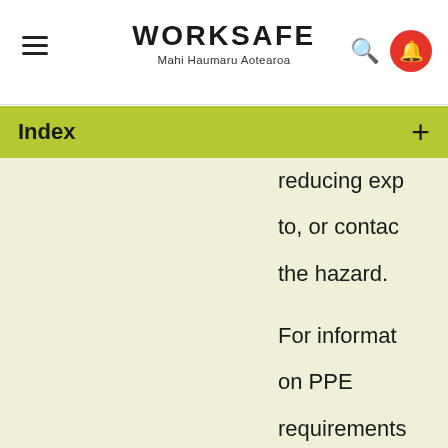WORKSAFE Mahi Haumaru Aotearoa
Index
reducing exposure to, or contact with, the hazard.

For information on PPE requirements: our interpretation guidelines: G Risk and Workplace...